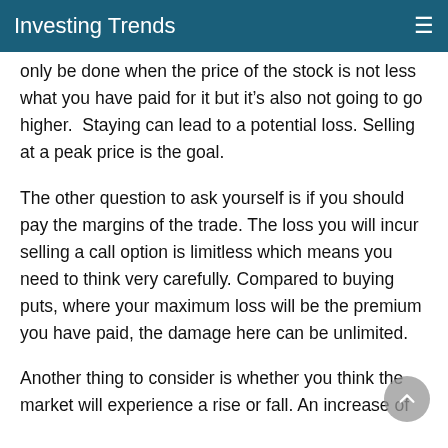Investing Trends
only be done when the price of the stock is not less what you have paid for it but it’s also not going to go higher.  Staying can lead to a potential loss. Selling at a peak price is the goal.
The other question to ask yourself is if you should pay the margins of the trade. The loss you will incur selling a call option is limitless which means you need to think very carefully. Compared to buying puts, where your maximum loss will be the premium you have paid, the damage here can be unlimited.
Another thing to consider is whether you think the market will experience a rise or fall. An increase of